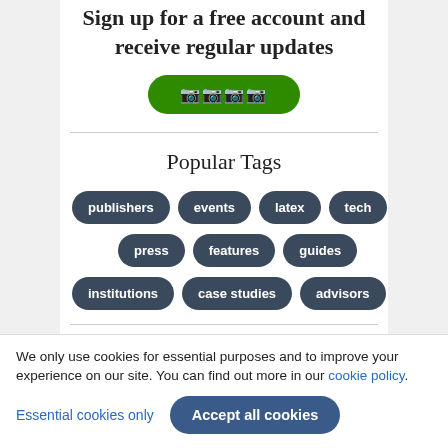Sign up for a free account and receive regular updates
[Figure (other): Green rounded button with placeholder/symbol characters]
Popular Tags
publishers
events
latex
tech
press
features
guides
institutions
case studies
advisors
We only use cookies for essential purposes and to improve your experience on our site. You can find out more in our cookie policy.
Essential cookies only | Accept all cookies